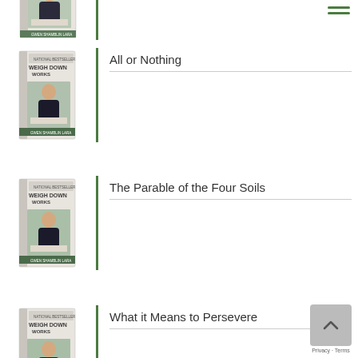[Figure (photo): Weigh Down Works book cover, partially cropped at top of page]
All or Nothing
[Figure (photo): Weigh Down Works book cover]
The Parable of the Four Soils
[Figure (photo): Weigh Down Works book cover]
What it Means to Persevere